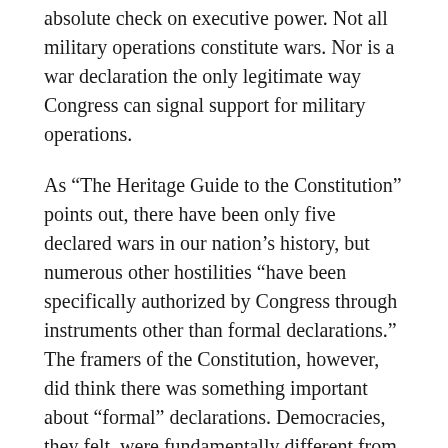absolute check on executive power. Not all military operations constitute wars. Nor is a war declaration the only legitimate way Congress can signal support for military operations.
As “The Heritage Guide to the Constitution” points out, there have been only five declared wars in our nation’s history, but numerous other hostilities “have been specifically authorized by Congress through instruments other than formal declarations.” The framers of the Constitution, however, did think there was something important about “formal” declarations. Democracies, they felt, were fundamentally different from other states and ought to be as open and transparent as possible about what they were doing.